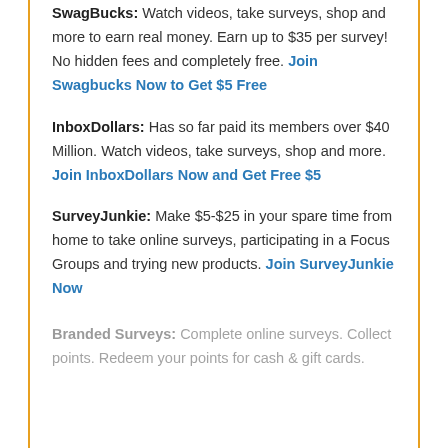SwagBucks: Watch videos, take surveys, shop and more to earn real money. Earn up to $35 per survey! No hidden fees and completely free. Join Swagbucks Now to Get $5 Free
InboxDollars: Has so far paid its members over $40 Million. Watch videos, take surveys, shop and more. Join InboxDollars Now and Get Free $5
SurveyJunkie: Make $5-$25 in your spare time from home to take online surveys, participating in a Focus Groups and trying new products. Join SurveyJunkie Now
Branded Surveys: Complete online surveys. Collect points. Redeem your points for cash & gift cards.